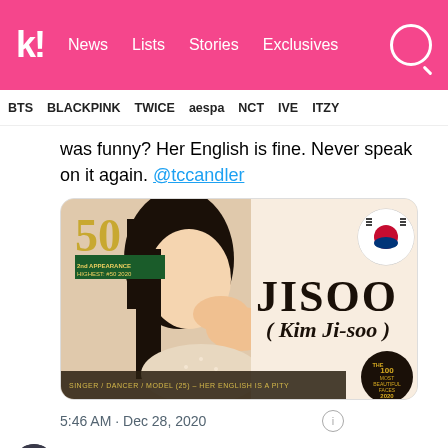k! News Lists Stories Exclusives
BTS BLACKPINK TWICE aespa NCT IVE ITZY
was funny? Her English is fine. Never speak on it again. @tccandler
[Figure (photo): Jisoo (Kim Ji-soo) ranked #50 on TC Candler 100 Most Beautiful Faces 2020, with Korean flag emoji. Text: SINGER / DANCER / MODEL (25) – HER ENGLISH IS A PITY]
5:46 AM · Dec 28, 2020
Read the full conversation on Twitter